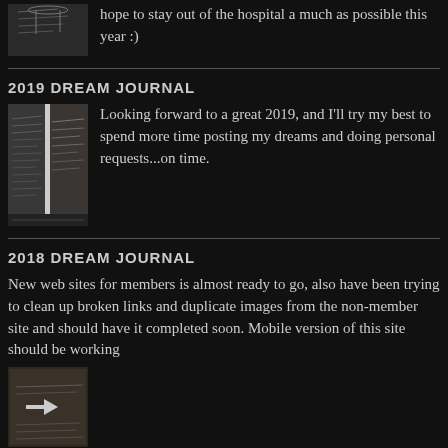hope to stay out of the hospital a much as possible this year :)
[Figure (photo): Thumbnail image of handwritten notes or journal pages]
2019 DREAM JOURNAL
[Figure (photo): Thumbnail image of handwritten journal pages side by side]
Looking forward to a great 2019, and I'll try my best to spend more time posting my dreams and doing personal requests...on time.
2018 DREAM JOURNAL
New web sites for members is almost ready to go, also have been trying to clean up broken links and duplicate images from the non-member site and should have it completed soon. Mobile version of this site should be working
[Figure (photo): Thumbnail image of handwritten journal or old document with arrow marking]